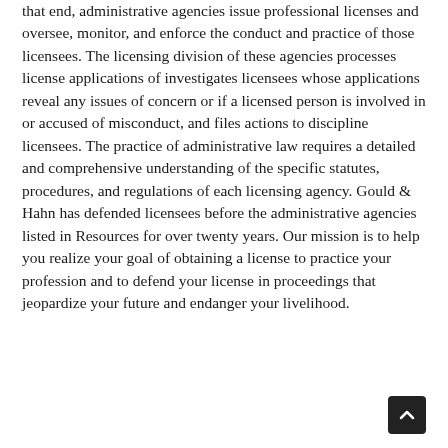that end, administrative agencies issue professional licenses and oversee, monitor, and enforce the conduct and practice of those licensees. The licensing division of these agencies processes license applications of investigates licensees whose applications reveal any issues of concern or if a licensed person is involved in or accused of misconduct, and files actions to discipline licensees. The practice of administrative law requires a detailed and comprehensive understanding of the specific statutes, procedures, and regulations of each licensing agency. Gould & Hahn has defended licensees before the administrative agencies listed in Resources for over twenty years. Our mission is to help you realize your goal of obtaining a license to practice your profession and to defend your license in proceedings that jeopardize your future and endanger your livelihood.